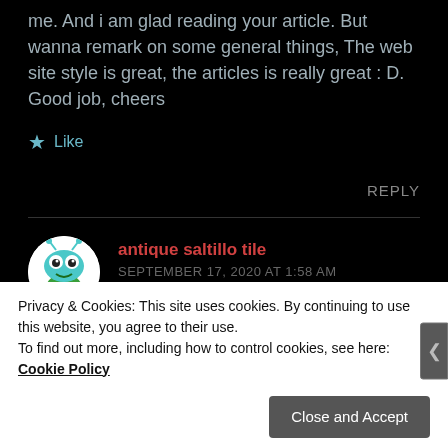me. And i am glad reading your article. But wanna remark on some general things, The web site style is great, the articles is really great : D. Good job, cheers
★ Like
REPLY
antique saltillo tile
SEPTEMBER 17, 2020 AT 1:58 AM
Privacy & Cookies: This site uses cookies. By continuing to use this website, you agree to their use.
To find out more, including how to control cookies, see here: Cookie Policy